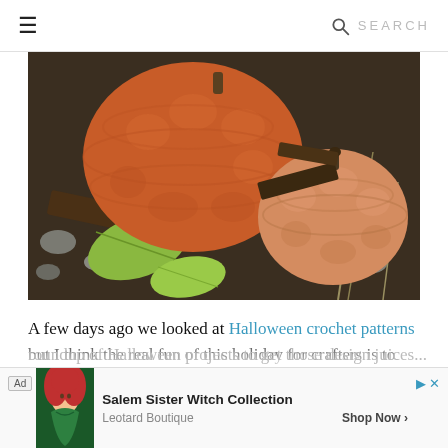☰   🔍 SEARCH
[Figure (photo): Two crocheted pumpkins made of orange yarn, placed among autumn leaves, bark, small stones and dried grass on the ground outdoors.]
A few days ago we looked at Halloween crochet patterns but I think the real fun of this holiday for crafters is to take inspiration and run with it in creating their own unique designs. Here's a roundup of Halloween projects to get those design juices...inspire...you'll
[Figure (infographic): Advertisement banner: Ad label, image of a woman in a witch costume, text reading 'Salem Sister Witch Collection', 'Leotard Boutique', 'Shop Now >' with close/skip controls.]